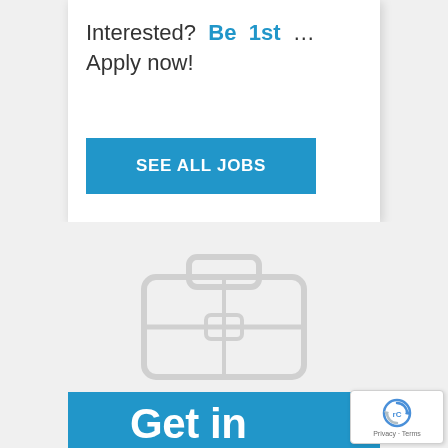Interested?  Be 1st  …  Apply now!
SEE ALL JOBS
[Figure (illustration): Faint gray outline illustration of a briefcase/suitcase icon in the background]
Get in
[Figure (logo): Google reCAPTCHA badge with recycling arrow icon and 'Privacy - Terms' text]